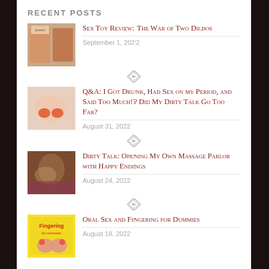RECENT POSTS
Sex Toy Review: The War of Two Dildos
September 1, 2022
Q&A: I Got Drunk, Had Sex on my Period, and Said Too Much!? Did My Dirty Talk Go Too Far?
August 31, 2022
Dirty Talk: Opening My Own Massage Parlor with Happy Endings
August 24, 2022
Oral Sex and Fingering for Dummies
August 18, 2022